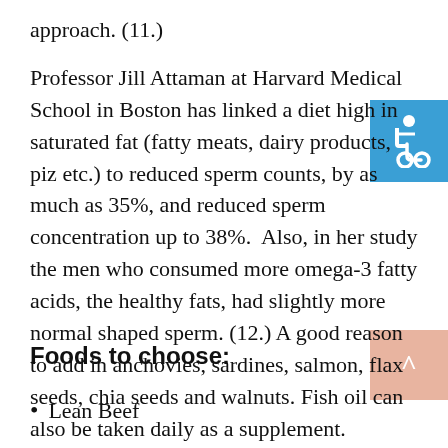approach. (11.)
Professor Jill Attaman at Harvard Medical School in Boston has linked a diet high in saturated fat (fatty meats, dairy products, piz etc.) to reduced sperm counts, by as much as 35%, and reduced sperm concentration up to 38%. Also, in her study the men who consumed more omega-3 fatty acids, the healthy fats, had slightly more normal shaped sperm. (12.) A good reason to add in anchovies, sardines, salmon, flax seeds, chia seeds and walnuts. Fish oil can also be taken daily as a supplement.
Foods to choose:
Lean Beef